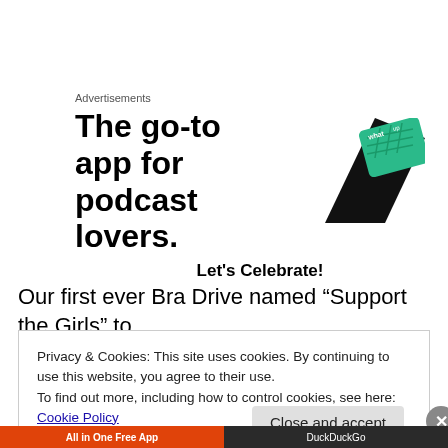Advertisements
[Figure (illustration): Advertisement for a podcast app showing bold text 'The go-to app for podcast lovers.' with a phone/app graphic in black and green]
Let's Celebrate!
Our first ever Bra Drive named “Support the Girls” to
Privacy & Cookies: This site uses cookies. By continuing to use this website, you agree to their use.
To find out more, including how to control cookies, see here: Cookie Policy
Close and accept